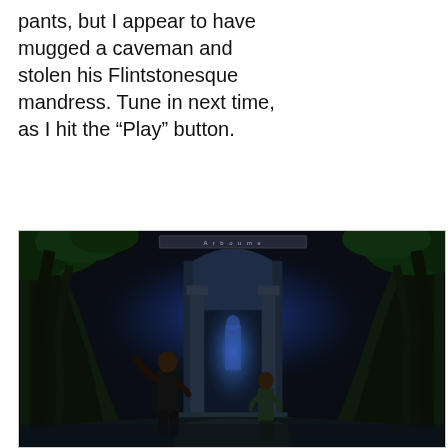pants, but I appear to have mugged a caveman and stolen his Flintstonesque mandress. Tune in next time, as I hit the "Play" button.
[Figure (screenshot): Screenshot of a dark fantasy/adventure video game showing two characters standing before a large ornate stone gate or temple entrance, surrounded by jungle vegetation and blue-lit stone architecture. A title bar reading 'Arboost' or similar text appears at the top center of the game window.]